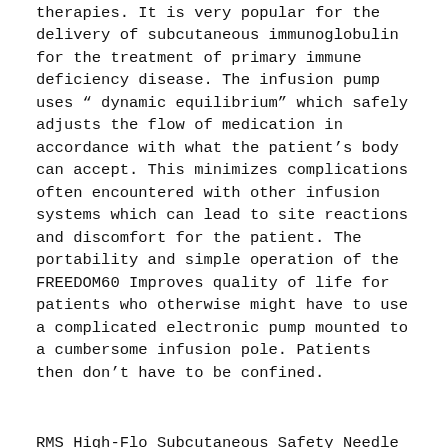therapies. It is very popular for the delivery of subcutaneous immunoglobulin for the treatment of primary immune deficiency disease. The infusion pump uses “ dynamic equilibrium” which safely adjusts the flow of medication in accordance with what the patient’s body can accept. This minimizes complications often encountered with other infusion systems which can lead to site reactions and discomfort for the patient. The portability and simple operation of the FREEDOM60 Improves quality of life for patients who otherwise might have to use a complicated electronic pump mounted to a cumbersome infusion pole. Patients then don’t have to be confined.
RMS High-Flo Subcutaneous Safety Needle Sets are being welcomed by healthcare providers and patients alike for their consistently high quality. The infusion sets are an ideal companion for the company’s FREEDOM 60 pump. The needle sets are patented and approved by the FDA.